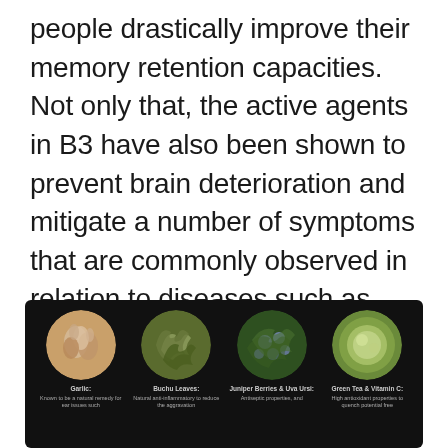people drastically improve their memory retention capacities. Not only that, the active agents in B3 have also been shown to prevent brain deterioration and mitigate a number of symptoms that are commonly observed in relation to diseases such as Alzheimer's.
[Figure (infographic): Dark background infographic showing four circular herb/ingredient images in a row: Garlic, Buchu Leaves, Juniper Berries & Uva Ursi, Green Tea & Vitamin C, each with a short description below.]